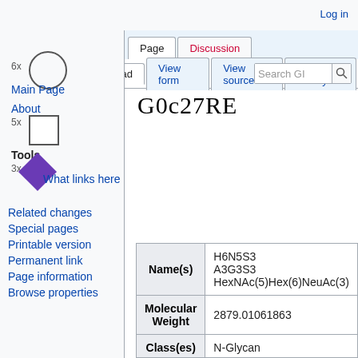Log in
Page | Discussion
Read | View form | View source | View history | Search GI
G0c27RE
Main Page
About
Tools
What links here
Related changes
Special pages
Printable version
Permanent link
Page information
Browse properties
|  |  |
| --- | --- |
| Name(s) | H6N5S3
A3G3S3
HexNAc(5)Hex(6)NeuAc(3) |
| Molecular Weight | 2879.01061863 |
| Class(es) | N-Glycan |